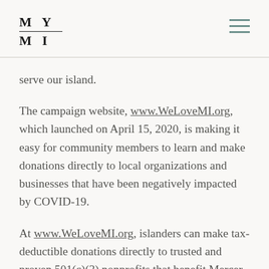MY MI
serve our island.
The campaign website, www.WeLoveMI.org, which launched on April 15, 2020, is making it easy for community members to learn and make donations directly to local organizations and businesses that have been negatively impacted by COVID-19.
At www.WeLoveMI.org, islanders can make tax-deductible donations directly to trusted and proven 501(c)(3) nonprofits that benefit Mercer